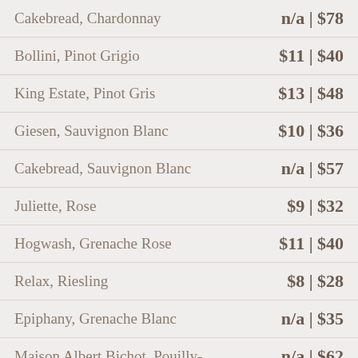| Wine | Price |
| --- | --- |
| Cakebread, Chardonnay | n/a | $78 |
| Bollini, Pinot Grigio | $11 | $40 |
| King Estate, Pinot Gris | $13 | $48 |
| Giesen, Sauvignon Blanc | $10 | $36 |
| Cakebread, Sauvignon Blanc | n/a | $57 |
| Juliette, Rose | $9 | $32 |
| Hogwash, Grenache Rose | $11 | $40 |
| Relax, Riesling | $8 | $28 |
| Epiphany, Grenache Blanc | n/a | $35 |
| Maison Albert Bichot, Pouilly- | n/a | $62 |